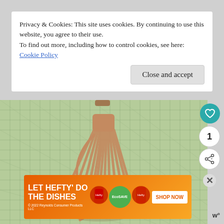Privacy & Cookies: This site uses cookies. By continuing to use this website, you agree to their use.
To find out more, including how to control cookies, see here: Cookie Policy
[Figure (photo): A tan leather tassel lying on a green quilted cutting mat with grid lines. The tassel has multiple fringe strips and a cylindrical top. Social media buttons (heart, share) are visible on the right side. A 'What's Next' panel shows a link to 'How To Make Leather...' with a small thumbnail.]
[Figure (screenshot): Advertisement banner for Hefty dish soap with orange/yellow gradient background. Text reads 'LET HEFTY DO THE DISHES' with product images and a 'SHOP NOW' button.]